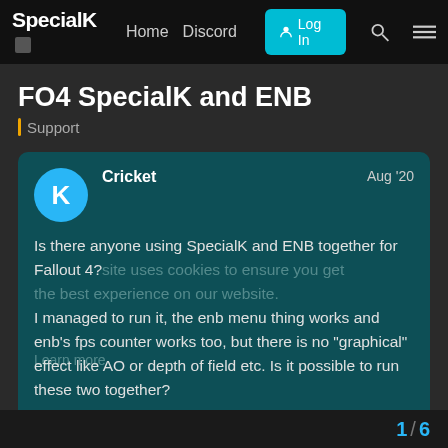SpecialK  Home  Discord  Log In
FO4 SpecialK and ENB
Support
Cricket  Aug '20

Is there anyone using SpecialK and ENB together for Fallout 4?
I managed to run it, the enb menu thing works and enb's fps counter works too, but there is no "graphical" effect like AO or depth of field etc. Is it possible to run these two together?
1 / 6